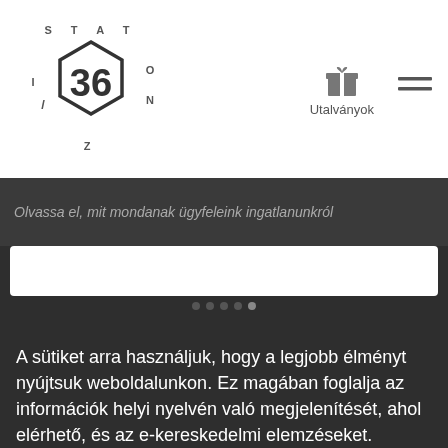[Figure (logo): Station 36 logo with hexagon shape containing '36' and circular text 'STATION' around it]
Utalványok
Olvassa el, mit mondanak ügyfeleink ingatlanunkról
A sütiket arra használjuk, hogy a legjobb élményt nyújtsuk weboldalunkon. Ez magában foglalja az információk helyi nyelvén való megjelenítését, ahol elérhető, és az e-kereskedelmi elemzéseket.
Cookie-szabályzat
Kezelése
Cookie-k engedélyezése